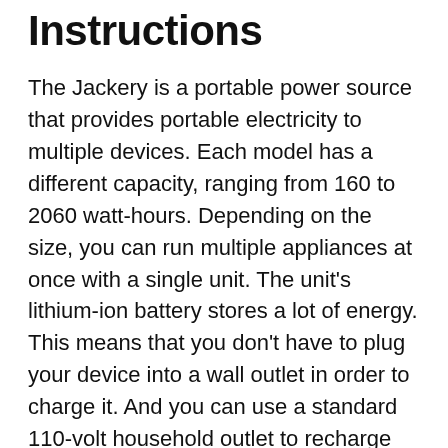Instructions
The Jackery is a portable power source that provides portable electricity to multiple devices. Each model has a different capacity, ranging from 160 to 2060 watt-hours. Depending on the size, you can run multiple appliances at once with a single unit. The unit's lithium-ion battery stores a lot of energy. This means that you don't have to plug your device into a wall outlet in order to charge it. And you can use a standard 110-volt household outlet to recharge the unit.
The Jackery Explorer 500 features a pure sine wave inverter, which mimics the sine wave of AC. This ensures that motors and other sensitive medical equipment will